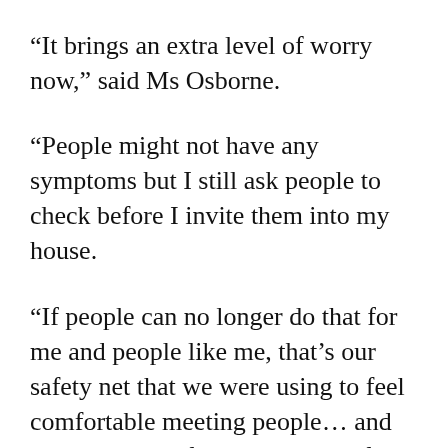“It brings an extra level of worry now,” said Ms Osborne.
“People might not have any symptoms but I still ask people to check before I invite them into my house.
“If people can no longer do that for me and people like me, that’s our safety net that we were using to feel comfortable meeting people… and now it’s kind of being removed from us.”
Ms Osborne said she wanted free Covid tests to be made available to immunosuppressed people